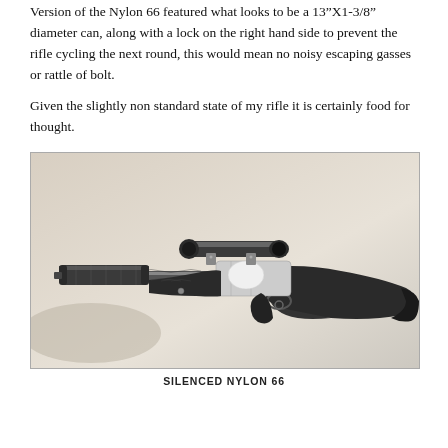Version of the Nylon 66 featured what looks to be a 13"X1-3/8" diameter can, along with a lock on the right hand side to prevent the rifle cycling the next round, this would mean no noisy escaping gasses or rattle of bolt.
Given the slightly non standard state of my rifle it is certainly food for thought.
[Figure (photo): Black and white photograph of a silenced Nylon 66 rifle with a cylindrical suppressor attached to the barrel and a scope mounted on top.]
SILENCED NYLON 66